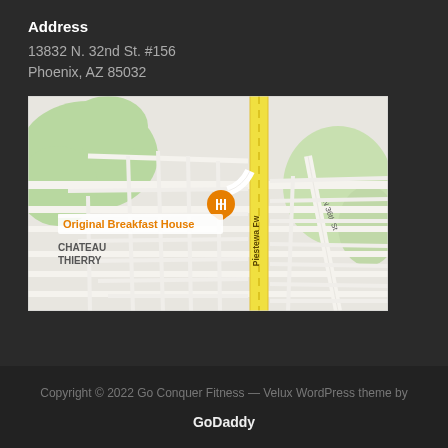Address
13832 N. 32nd St. #156
Phoenix, AZ 85032
[Figure (map): Google Maps screenshot showing Original Breakfast House location at intersection near Piestewa Freeway and N 36th St in Phoenix, AZ. An orange map pin with fork/knife icon marks the restaurant. Surrounding area shows roads, green park areas, and neighborhood labeled CHATEAU THIERRY.]
Copyright © 2022 Go Conquer Fitness — Velux WordPress theme by GoDaddy